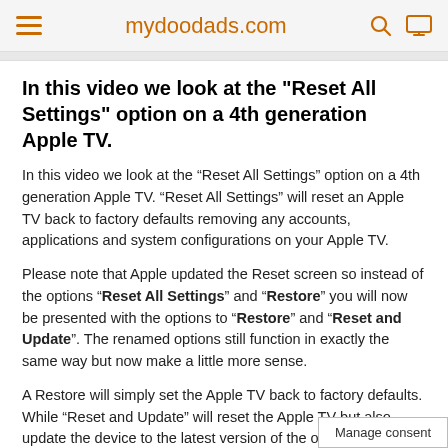mydoodads.com
In this video we look at the "Reset All Settings" option on a 4th generation Apple TV.
In this video we look at the “Reset All Settings” option on a 4th generation Apple TV. “Reset All Settings” will reset an Apple TV back to factory defaults removing any accounts, applications and system configurations on your Apple TV.
Please note that Apple updated the Reset screen so instead of the options “Reset All Settings” and “Restore” you will now be presented with the options to “Restore” and “Reset and Update”. The renamed options still function in exactly the same way but now make a little more sense.
A Restore will simply set the Apple TV back to factory defaults. While “Reset and Update” will reset the Apple TV but also update the device to the latest version of the operating s…